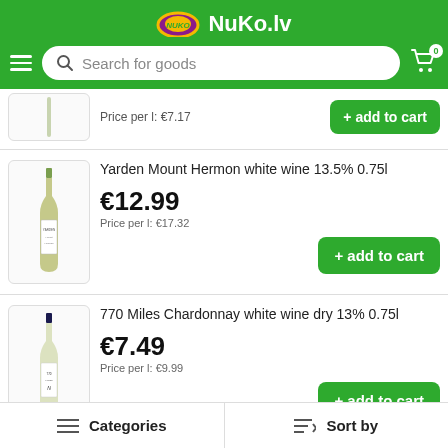NuKo.lv — Search for goods — Cart 0
Price per l: €7.17
Yarden Mount Hermon white wine 13.5% 0.75l
€12.99
Price per l: €17.32
770 Miles Chardonnay white wine dry 13% 0.75l
€7.49
Price per l: €9.99
Peter Lehmann Portrait Riesling white wine 11% 0.75l
Categories | Sort by